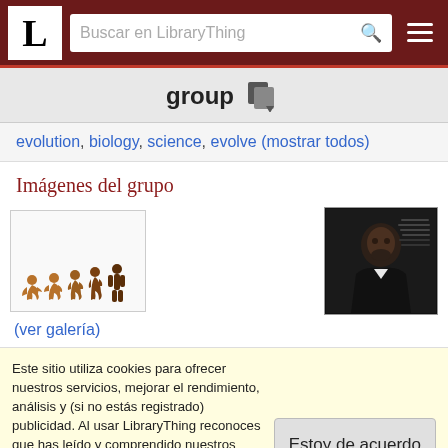L — Buscar en LibraryThing
group
evolution, biology, science, evolve  (mostrar todos)
Imágenes del grupo
[Figure (photo): Evolution silhouette illustration showing progression from ape to human]
[Figure (photo): Dark portrait photo, possibly of a scientist or author]
(ver galería)
Este sitio utiliza cookies para ofrecer nuestros servicios, mejorar el rendimiento, análisis y (si no estás registrado) publicidad. Al usar LibraryThing reconoces que has leído y comprendido nuestros Términos de Servicio y Política de Privacidad. El uso del sitio y de los servicios está sujeto a estas políticas y términos.